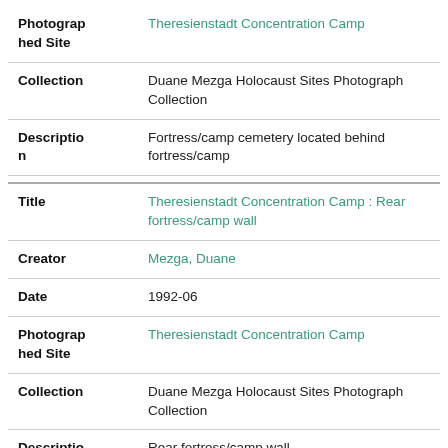| Field | Value |
| --- | --- |
| Photographed Site | Theresienstadt Concentration Camp |
| Collection | Duane Mezga Holocaust Sites Photograph Collection |
| Description | Fortress/camp cemetery located behind fortress/camp |
| Title | Theresienstadt Concentration Camp : Rear fortress/camp wall |
| Creator | Mezga, Duane |
| Date | 1992-06 |
| Photographed Site | Theresienstadt Concentration Camp |
| Collection | Duane Mezga Holocaust Sites Photograph Collection |
| Description | Rear fortress/camp wall |